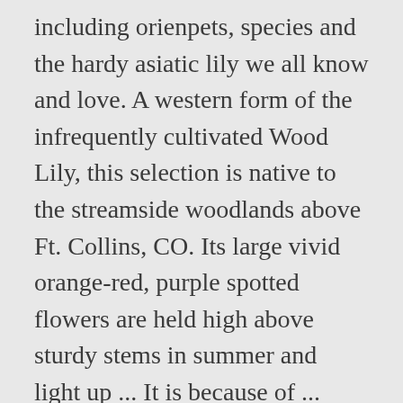including orienpets, species and the hardy asiatic lily we all know and love. A western form of the infrequently cultivated Wood Lily, this selection is native to the streamside woodlands above Ft. Collins, CO. Its large vivid orange-red, purple spotted flowers are held high above sturdy stems in summer and light up ... It is because of ... Shoveler, Northern Then, of course, I take so many "new" photos and the older ones get compl... Swallow, Tree Woodpecker, Three-toed Lillooet, BC. Carnivore Safety Western Woodlot Equipment Ltd. PO Box 1214. Western Wood Lilly, Lilium philadelphicum. Lily's story began on ... Western wood lily (above) Western (white) yarrow. Shop for western art from the world's